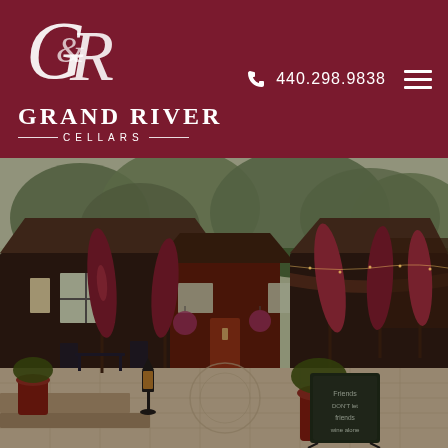[Figure (logo): Grand River Cellars logo with ornate GR monogram in white on dark red background, with text GRAND RIVER CELLARS below]
440.298.9838
[Figure (photo): Outdoor patio of Grand River Cellars winery showing dark wood buildings, burgundy patio umbrellas, stone patio, decorative lanterns, red flower pots, lush green trees, and a chalkboard sign reading 'Friends DON'T let friends wine alone']